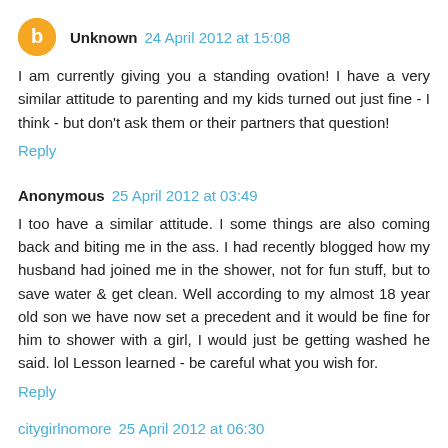Unknown 24 April 2012 at 15:08
I am currently giving you a standing ovation! I have a very similar attitude to parenting and my kids turned out just fine - I think - but don't ask them or their partners that question!
Reply
Anonymous 25 April 2012 at 03:49
I too have a similar attitude. I some things are also coming back and biting me in the ass. I had recently blogged how my husband had joined me in the shower, not for fun stuff, but to save water & get clean. Well according to my almost 18 year old son we have now set a precedent and it would be fine for him to shower with a girl, I would just be getting washed he said. lol Lesson learned - be careful what you wish for.
Reply
citygirlnomore 25 April 2012 at 06:30